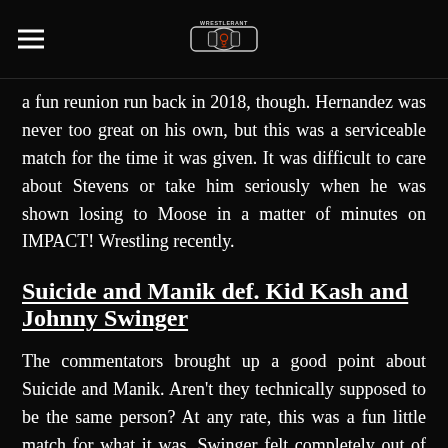[WrestleRant logo and hamburger menu]
a fun reunion run back in 2018, though. Hernandez was never too great on his own, but this was a serviceable match for the time it was given. It was difficult to care about Stevens or take him seriously when he was shown losing to Moose in a matter of minutes on IMPACT! Wrestling recently.
Suicide and Manik def. Kid Kash and Johnny Swinger
The commentators brought up a good point about Suicide and Manik. Aren't they technically supposed to be the same person? At any rate, this was a fun little match for what it was. Swinger felt completely out of place here,